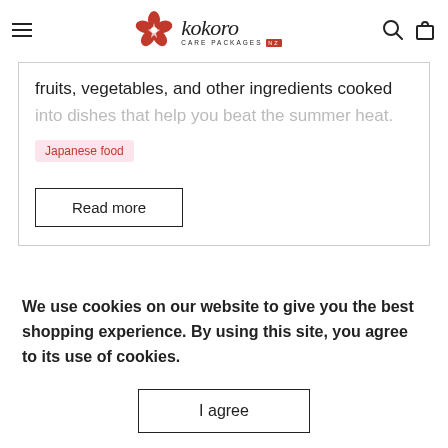Kokoro Care Packages — navigation header with logo, search, and cart icons
fruits, vegetables, and other ingredients cooked into dishes that help you beat the summer heat.
Japanese food
Read more
We use cookies on our website to give you the best shopping experience. By using this site, you agree to its use of cookies.
I agree